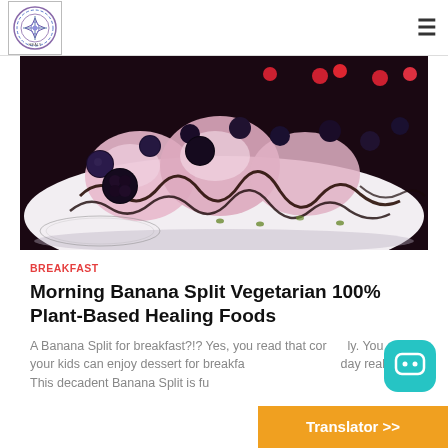[Figure (logo): Website logo with circular mandala/chakra design in blue and purple tones with a symbol in center]
[Figure (photo): Close-up photo of a banana split dessert topped with blueberries, blackberries, chocolate drizzle and other toppings on a white plate]
BREAKFAST
Morning Banana Split Vegetarian 100% Plant-Based Healing Foods
A Banana Split for breakfast?!? Yes, you read that correctly. You and your kids can enjoy dessert for breakfast, or any time of day really. This decadent Banana Split is fu